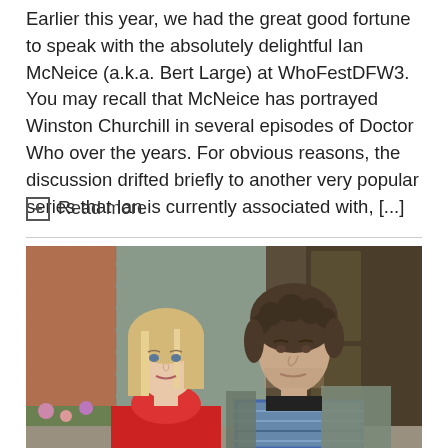Earlier this year, we had the great good fortune to speak with the absolutely delightful Ian McNeice (a.k.a. Bert Large) at WhoFestDFW3. You may recall that McNeice has portrayed Winston Churchill in several episodes of Doctor Who over the years. For obvious reasons, the discussion drifted briefly to another very popular series that Ian is currently associated with, [...]
+ Read more
[Figure (photo): Photograph of a woman with long blonde hair wearing a red top and a man with curly dark hair wearing a plaid shirt and grey jacket, posing together outdoors near a brick wall and wooden door.]